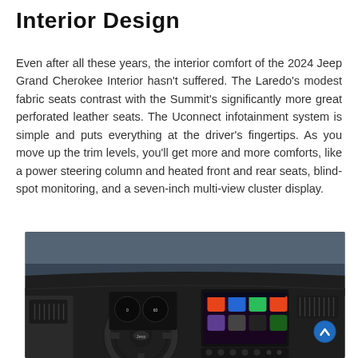Interior Design
Even after all these years, the interior comfort of the 2024 Jeep Grand Cherokee Interior hasn't suffered. The Laredo's modest fabric seats contrast with the Summit's significantly more great perforated leather seats. The Uconnect infotainment system is simple and puts everything at the driver's fingertips. As you move up the trim levels, you'll get more and more comforts, like a power steering column and heated front and rear seats, blind-spot monitoring, and a seven-inch multi-view cluster display.
[Figure (photo): Interior view of the 2024 Jeep Grand Cherokee showing dashboard with steering wheel, instrument cluster, and infotainment touchscreen displaying app icons.]